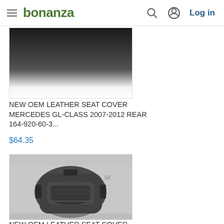bonanza  Log in
[Figure (photo): Partial view of a dark leather/fabric car seat cover for Mercedes GL-Class, cropped at top]
NEW OEM LEATHER SEAT COVER MERCEDES GL-CLASS 2007-2012 REAR 164-920-60-3...
$64.35
[Figure (photo): Dark grey fabric/leather car seat cover for Mercedes ML-Class, photographed on a surface, showing full seat back cover shape]
NEW OEM LEATHER SEAT COVER MERCEDES ML-CLASS 2006-2011